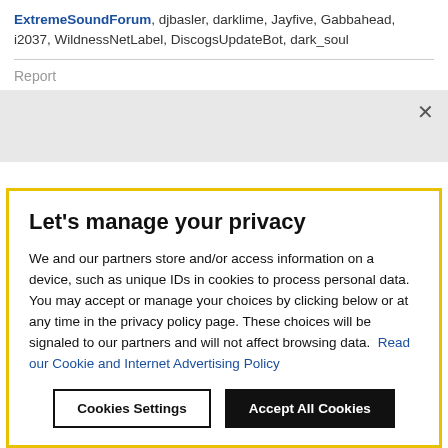ExtremeSoundForum, djbasler, darklime, Jayfive, Gabbahead, i2037, WildnessNetLabel, DiscogsUpdateBot, dark_soul
Report
Let's manage your privacy
We and our partners store and/or access information on a device, such as unique IDs in cookies to process personal data. You may accept or manage your choices by clicking below or at any time in the privacy policy page. These choices will be signaled to our partners and will not affect browsing data. Read our Cookie and Internet Advertising Policy
Cookies Settings | Accept All Cookies